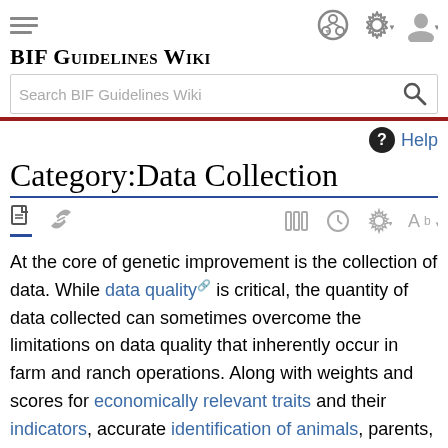BIF Guidelines Wiki
Search BIF Guidelines Wiki
Category:Data Collection
At the core of genetic improvement is the collection of data. While data quality is critical, the quantity of data collected can sometimes overcome the limitations on data quality that inherently occur in farm and ranch operations. Along with weights and scores for economically relevant traits and their indicators, accurate identification of animals, parents, contemporary groups, and other important details (e.g., age) are essential. (Go here for a list of traits and their definitions)